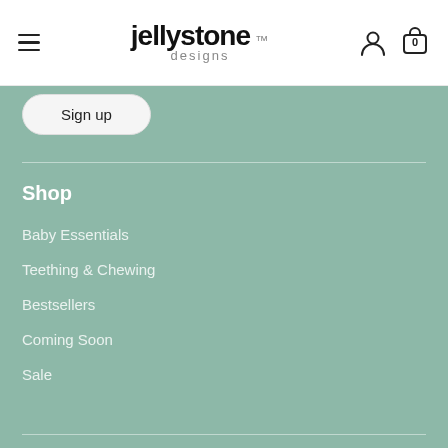Jellystone Designs — navigation header with hamburger menu, logo, user icon, and cart (0)
Sign up
Shop
Baby Essentials
Teething & Chewing
Bestsellers
Coming Soon
Sale
Useful Information